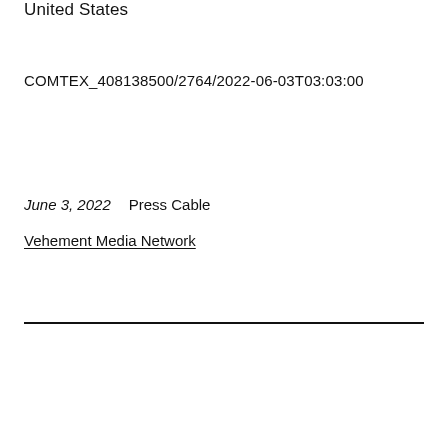United States
COMTEX_408138500/2764/2022-06-03T03:03:00
June 3, 2022    Press Cable
Vehement Media Network